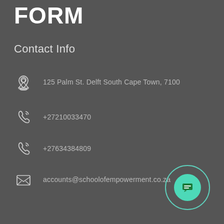FORM
Contact Info
125 Palm St. Delft South Cape Town, 7100
+27210033470
+27634384809
accounts@schoolofempowerment.co.za
[Figure (other): Green chat/message icon button inside a teal circular ring, bottom-right corner]